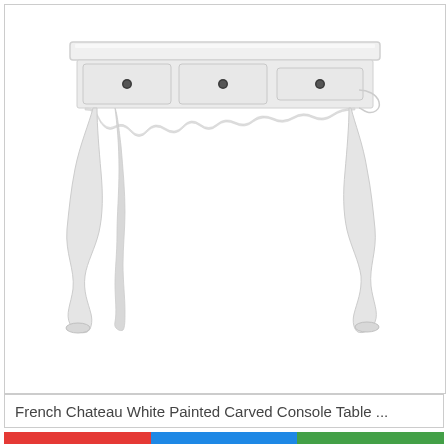[Figure (photo): A French Chateau white painted carved console table with three drawers with small round dark knobs and ornate cabriole legs with a decorative scalloped apron, photographed against a white background.]
French Chateau White Painted Carved Console Table ...